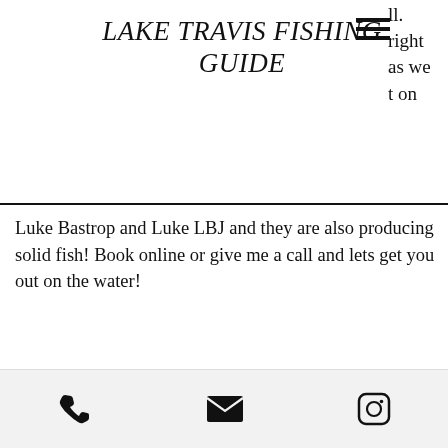LAKE TRAVIS FISHING GUIDE
ll. right as we t on
Luke Bastrop and Luke LBJ and they are also producing solid fish! Book online or give me a call and lets get you out on the water!
Tight Lines!
[Figure (other): Social share icons: Facebook (f), Twitter bird, LinkedIn (in)]
[Figure (other): Heart/like icon in red outline]
[Figure (other): Footer bar with phone icon, email icon, and Instagram icon]